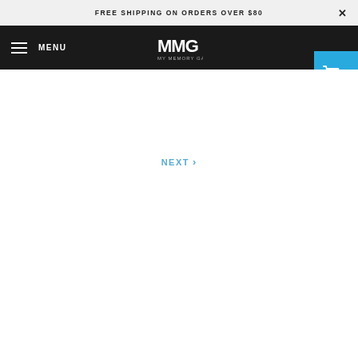FREE SHIPPING ON ORDERS OVER $80
[Figure (logo): MMG My Memory Gadget logo in white on dark navbar]
NEXT >